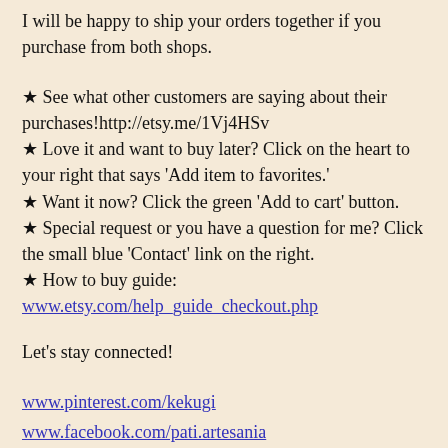I will be happy to ship your orders together if you purchase from both shops.
★ See what other customers are saying about their purchases!http://etsy.me/1Vj4HSv
★ Love it and want to buy later? Click on the heart to your right that says 'Add item to favorites.'
★ Want it now? Click the green 'Add to cart' button.
★ Special request or you have a question for me? Click the small blue 'Contact' link on the right.
★ How to buy guide: www.etsy.com/help_guide_checkout.php
Let's stay connected!
www.pinterest.com/kekugi
www.facebook.com/pati.artesania